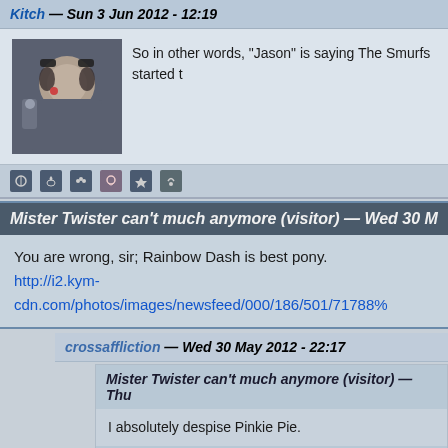Kitch — Sun 3 Jun 2012 - 12:19
So in other words, "Jason" is saying The Smurfs started t
Mister Twister can't much anymore (visitor) — Wed 30 M
You are wrong, sir; Rainbow Dash is best pony.
http://i2.kym-cdn.com/photos/images/newsfeed/000/186/501/71788%
crossaffliction — Wed 30 May 2012 - 22:17
Mister Twister can't much anymore (visitor) — Thu
I absolutely despise Pinkie Pie.
crossaffliction — Sat 2 Jun 2012 - 01:58
You know, I just realized how much Pinkie Pie sou